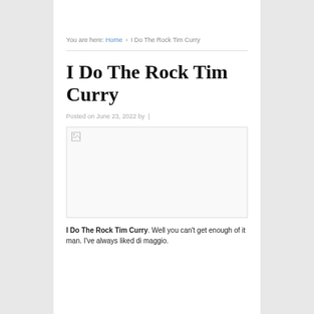You are here: Home › I Do The Rock Tim Curry
I Do The Rock Tim Curry
Posted on June 23, 2022 by |
[Figure (photo): Image placeholder with broken image icon in top-left corner]
I Do The Rock Tim Curry. Well you can't get enough of it man. I've always liked di maggio.